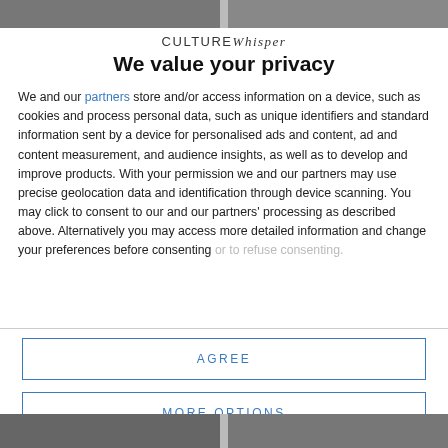[Figure (photo): Top strip photo of people, partially visible]
CULTURE Whisper
We value your privacy
We and our partners store and/or access information on a device, such as cookies and process personal data, such as unique identifiers and standard information sent by a device for personalised ads and content, ad and content measurement, and audience insights, as well as to develop and improve products. With your permission we and our partners may use precise geolocation data and identification through device scanning. You may click to consent to our and our partners' processing as described above. Alternatively you may access more detailed information and change your preferences before consenting or to refuse consenting.
AGREE
MORE OPTIONS
[Figure (photo): Bottom strip photo of people, partially visible]